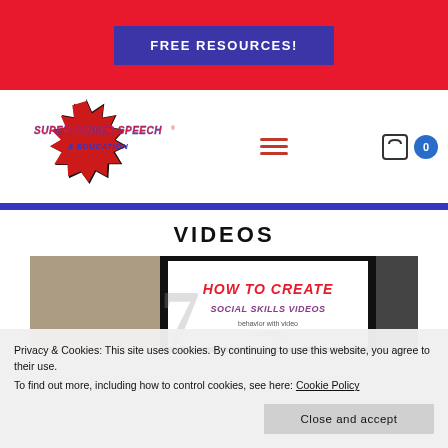[Figure (screenshot): Red banner at top with blue button labeled FREE RESOURCES!]
FREE RESOURCES!
[Figure (logo): Super Power Speech & Education logo with starburst graphic]
VIDEOS
[Figure (screenshot): Video thumbnail showing HOW TO CREATE text over dark background with colorful content]
Privacy & Cookies: This site uses cookies. By continuing to use this website, you agree to their use.
To find out more, including how to control cookies, see here: Cookie Policy
Close and accept